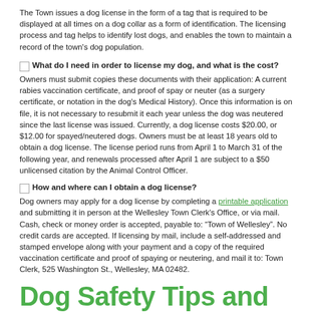The Town issues a dog license in the form of a tag that is required to be displayed at all times on a dog collar as a form of identification. The licensing process and tag helps to identify lost dogs, and enables the town to maintain a record of the town's dog population.
What do I need in order to license my dog, and what is the cost?
Owners must submit copies these documents with their application: A current rabies vaccination certificate, and proof of spay or neuter (as a surgery certificate, or notation in the dog's Medical History). Once this information is on file, it is not necessary to resubmit it each year unless the dog was neutered since the last license was issued. Currently, a dog license costs $20.00, or $12.00 for spayed/neutered dogs. Owners must be at least 18 years old to obtain a dog license. The license period runs from April 1 to March 31 of the following year, and renewals processed after April 1 are subject to a $50 unlicensed citation by the Animal Control Officer.
How and where can I obtain a dog license?
Dog owners may apply for a dog license by completing a printable application and submitting it in person at the Wellesley Town Clerk's Office, or via mail. Cash, check or money order is accepted, payable to: “Town of Wellesley”. No credit cards are accepted. If licensing by mail, include a self-addressed and stamped envelope along with your payment and a copy of the required vaccination certificate and proof of spaying or neutering, and mail it to: Town Clerk, 525 Washington St., Wellesley, MA 02482.
Dog Safety Tips and